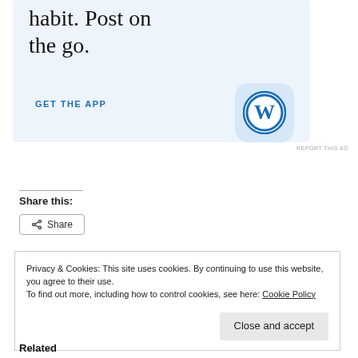[Figure (screenshot): WordPress app advertisement with light blue background. Text reads 'habit. Post on the go.' with 'GET THE APP' call-to-action and WordPress logo icon.]
REPORT THIS AD
Share this:
Share
Privacy & Cookies: This site uses cookies. By continuing to use this website, you agree to their use.
To find out more, including how to control cookies, see here: Cookie Policy
Close and accept
Related